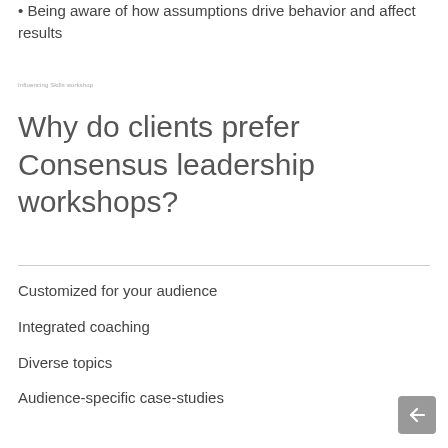• Being aware of how assumptions drive behavior and affect results
Influencing Skills workshop
Why do clients prefer Consensus leadership workshops?
Customized for your audience
Integrated coaching
Diverse topics
Audience-specific case-studies